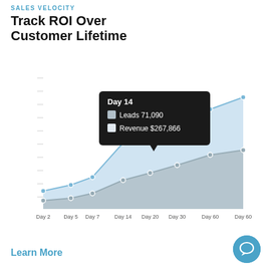SALES VELOCITY
Track ROI Over Customer Lifetime
[Figure (area-chart): Track ROI Over Customer Lifetime]
Learn More